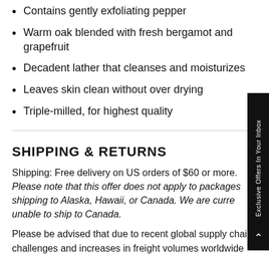Contains gently exfoliating pepper
Warm oak blended with fresh bergamot and grapefruit
Decadent lather that cleanses and moisturizes
Leaves skin clean without over drying
Triple-milled, for highest quality
SHIPPING & RETURNS
Shipping: Free delivery on US orders of $60 or more. Please note that this offer does not apply to packages shipping to Alaska, Hawaii, or Canada. We are currently unable to ship to Canada.
Please be advised that due to recent global supply chain challenges and increases in freight volumes worldwide